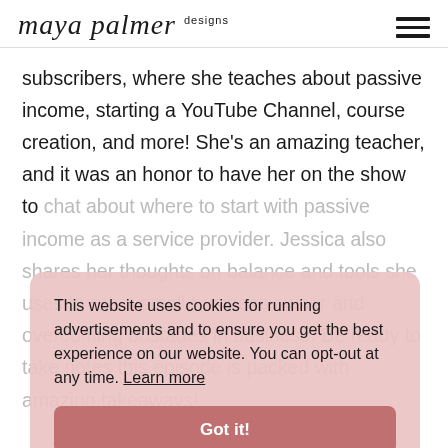[Figure (logo): Maya Palmer Designs logo in cursive/script font with hamburger menu icon on the right]
subscribers, where she teaches about passive income, starting a YouTube Channel, course creation, and more! She's an amazing teacher, and it was an honor to have her on the show to chat about where to start with passive income as a service provider. Jessica also shares her thoughts on balance and tools she uses to run a small business owner and overcoming obstades in business. Be ready to take notes this episode is packed with amazing takeaways!
This website uses cookies for running advertisements and to ensure you get the best experience on our website. You can opt-out at any time. Learn more